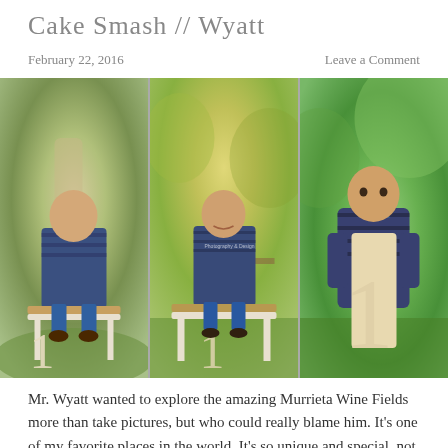Cake Smash // Wyatt
February 22, 2016
Leave a Comment
[Figure (photo): Triptych of three outdoor photos of a baby boy named Wyatt sitting on a small white bench in a park setting with green trees, wearing a plaid flannel shirt and jeans, holding or sitting next to a large wooden number 1.]
Mr. Wyatt wanted to explore the amazing Murrieta Wine Fields more than take pictures, but who could really blame him. It's one of my favorite places in the world. It's so unique and special, not to